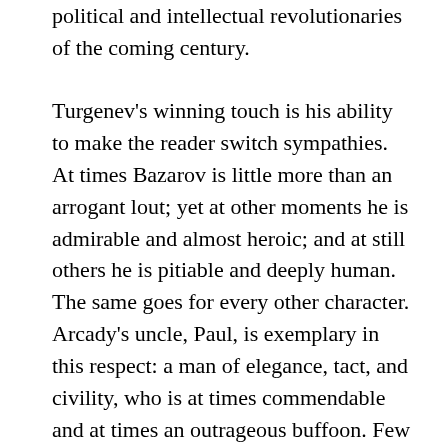political and intellectual revolutionaries of the coming century.
Turgenev's winning touch is his ability to make the reader switch sympathies. At times Bazarov is little more than an arrogant lout; yet at other moments he is admirable and almost heroic; and at still others he is pitiable and deeply human. The same goes for every other character. Arcady's uncle, Paul, is exemplary in this respect: a man of elegance, tact, and civility, who is at times commendable and at times an outrageous buffoon. Few novelists have such an prodigious ability to render complex yet believable personalities. In sum, the very fact that Turgenev wrote a novel about